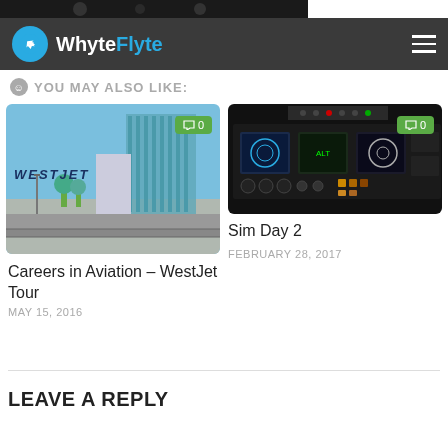[Figure (photo): Top partial image strip showing dark background]
WhyteFlyte
YOU MAY ALSO LIKE:
[Figure (photo): WestJet building exterior with teal glass facade and blue sky, comment badge showing 0]
Careers in Aviation – WestJet Tour
MAY 15, 2016
[Figure (photo): Airplane cockpit instrument panel with multiple gauges and screens, comment badge showing 0]
Sim Day 2
FEBRUARY 28, 2017
LEAVE A REPLY